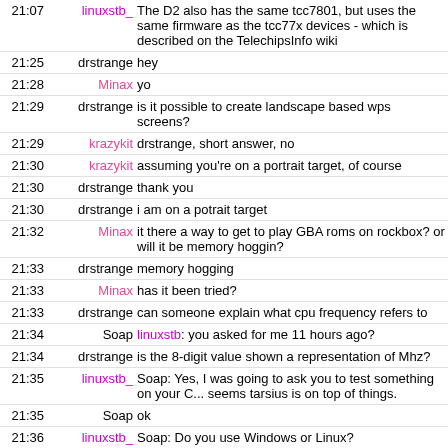21:07 linuxstb_ The D2 also has the same tcc7801, but uses the same firmware as the tcc77x devices - which is described on the TelechipsInfo wiki
21:25 drstrange hey
21:28 Minax yo
21:29 drstrange is it possible to create landscape based wps screens?
21:29 krazykit drstrange, short answer, no
21:30 krazykit assuming you're on a portrait target, of course
21:30 drstrange thank you
21:30 drstrange i am on a potrait target
21:32 Minax it there a way to get to play GBA roms on rockbox? or will it be memory hoggin?
21:33 drstrange memory hogging
21:33 Minax has it been tried?
21:33 drstrange can someone explain what cpu frequency refers to
21:34 Soap linuxstb: you asked for me 11 hours ago?
21:34 drstrange is the 8-digit value shown a representation of Mhz?
21:35 linuxstb_ Soap: Yes, I was going to ask you to test something on your C... seems tarsius is on top of things.
21:35 Soap ok
21:36 linuxstb_ Soap: Do you use Windows or Linux?
21:41 Soap linuxstb: if you see tarsius before I do - I /believe/ I have read the adapter will fit into a C100 with a little bit of shaving on the m... also believe that the pin-pitch is the same between the two ada... is correct AND tarsius wants some plugs (so he doesn't have to... cables) I am willing to send him one or two.